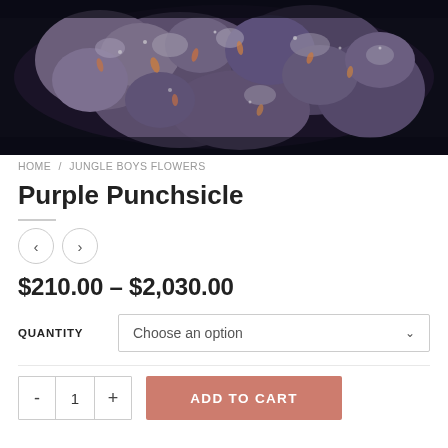[Figure (photo): Close-up photograph of purple cannabis flower buds on a dark background]
HOME / JUNGLE BOYS FLOWERS
Purple Punchsicle
$210.00 – $2,030.00
QUANTITY   Choose an option
- 1 +   ADD TO CART